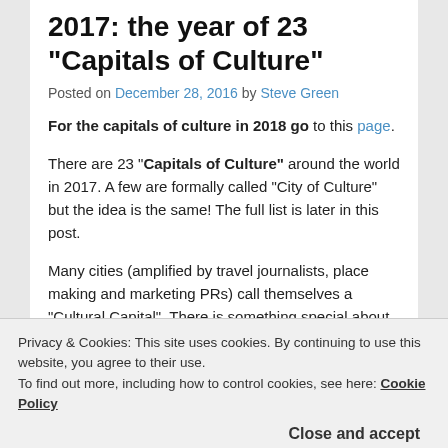2017: the year of 23 “Capitals of Culture”
Posted on December 28, 2016 by Steve Green
For the capitals of culture in 2018 go to this page.
There are 23 “Capitals of Culture” around the world in 2017. A few are formally called “City of Culture” but the idea is the same!  The full list is later in this post.
Many cities (amplified by travel journalists, place making and marketing PRs) call themselves a “Cultural Capital”. There is something special about having the title awarded from outside the city. It implies recognition not self-promotion.
the concept has come a long way since the first “European City of Culture” in 1985.  Built on the initiative of probably the two most well-known Ministers of Culture (Melina Mercouri of Greece and Jack Lang of France) the
Privacy & Cookies: This site uses cookies. By continuing to use this website, you agree to their use.
To find out more, including how to control cookies, see here: Cookie Policy
Close and accept